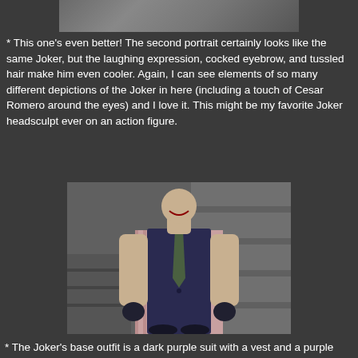[Figure (photo): Partial top of a photo showing a Joker action figure head/face, cropped at the top of the page]
* This one's even better! The second portrait certainly looks like the same Joker, but the laughing expression, cocked eyebrow, and tussled hair make him even cooler. Again, I can see elements of so many different depictions of the Joker in here (including a touch of Cesar Romero around the eyes) and I love it. This might be my favorite Joker headsculpt ever on an action figure.
[Figure (photo): Action figure of the Joker wearing a dark navy/purple vest over a pink and white striped short-sleeved shirt with a green tie. The figure stands with arms slightly out, showing a laughing expression on the face.]
* The Joker's base outfit is a dark purple suit with a vest and a purple and white striped shirt with a green tie. It's really